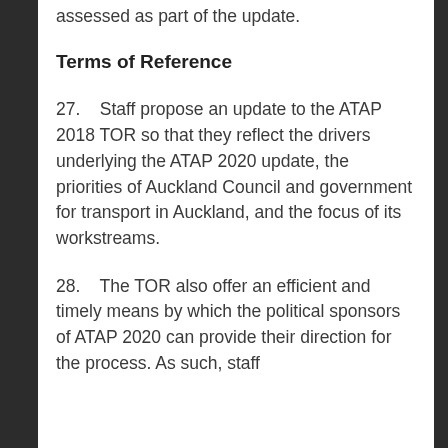assessed as part of the update.
Terms of Reference
27.    Staff propose an update to the ATAP 2018 TOR so that they reflect the drivers underlying the ATAP 2020 update, the priorities of Auckland Council and government for transport in Auckland, and the focus of its workstreams.
28.    The TOR also offer an efficient and timely means by which the political sponsors of ATAP 2020 can provide their direction for the process. As such, staff